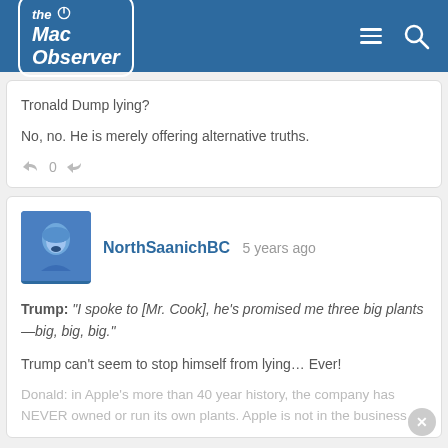the Mac Observer
Tronald Dump lying?

No, no. He is merely offering alternative truths.
NorthSaanichBC  5 years ago

Trump: "I spoke to [Mr. Cook], he's promised me three big plants—big, big, big."

Trump can't seem to stop himself from lying... Ever!

Donald: in Apple's more than 40 year history, the company has NEVER owned or run its own plants. Apple is not in the business...